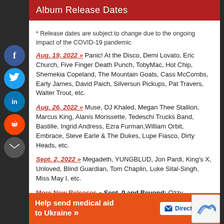Album Release Dates
* Release dates are subject to change due to the ongoing impact of the COVID-19 pandemic
Aug. 19, 2022 » Panic! At the Disco, Demi Lovato, Eric Church, Five Finger Death Punch, TobyMac, Hot Chip, Shemekia Copeland, The Mountain Goats, Cass McCombs, Early James, David Paich, Silversun Pickups, Pat Travers, Walter Trout, etc.
Aug. 26, 2022 » Muse, DJ Khaled, Megan Thee Stallion, Marcus King, Alanis Morissette, Tedeschi Trucks Band, Bastille, Ingrid Andress, Ezra Furman, William Orbit, Embrace, Steve Earle & The Dukes, Lupe Fiasco, Dirty Heads, etc.
Sept. 2, 2022 » Megadeth, YUNGBLUD, Jon Pardi, King's X, Unloved, Blind Guardian, Tom Chaplin, Luke Sital-Singh, Miss May I, etc.
More New Releases » Sept. 9 and Beyond: Ozzy Osbourne, Kane Brown, John Legend, Julian Lennon, Flogging Molly, The Proclai...